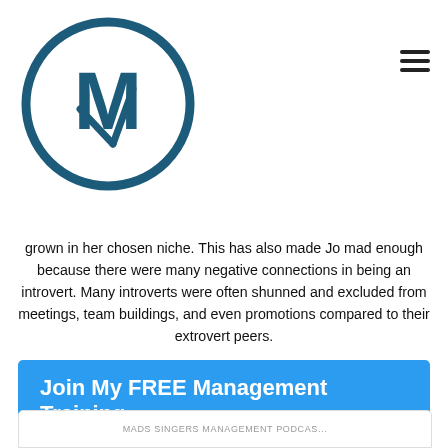[Figure (logo): Circular logo with M letter inside, dark blue outline and stylized M with a checkmark-like stroke]
grown in her chosen niche. This has also made Jo mad enough because there were many negative connections in being an introvert. Many introverts were often shunned and excluded from meetings, team buildings, and even promotions compared to their extrovert peers.
Join My FREE Management Training
MADS SINGERS MANAGEMENT PODCAS...